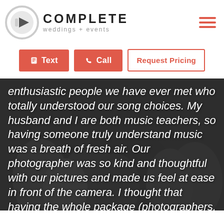Complete Weddings + Events
[Figure (logo): Complete Weddings + Events logo with circular icon and company name]
Text  Call  Request Pricing
[Figure (photo): Black and white photo of wedding party group with white italic overlay text reading: enthusiastic people we have ever met who totally understood our song choices. My husband and I are both music teachers, so having someone truly understand music was a breath of fresh air. Our photographer was so kind and thoughtful with our pictures and made us feel at ease in front of the camera. I thought that having the whole package (photographers, videographer, photo booth and DJ) all in the same company helped because everyone]